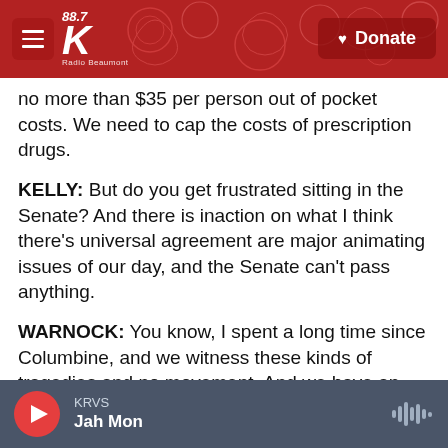KRVS 88.7 Radio Beaumont – Donate
no more than $35 per person out of pocket costs. We need to cap the costs of prescription drugs.
KELLY: But do you get frustrated sitting in the Senate? And there is inaction on what I think there's universal agreement are major animating issues of our day, and the Senate can't pass anything.
WARNOCK: You know, I spent a long time since Columbine, and we witness these kinds of tragedies and no movement. And we have an obligation to get something done, whether what we're talking about commonsense gun laws or the
KRVS – Jah Mon